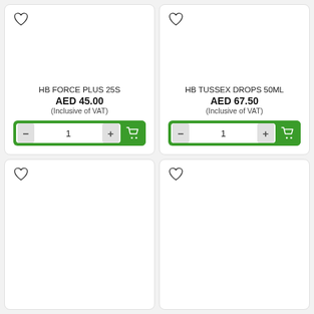[Figure (screenshot): Product card for HB FORCE PLUS 25S showing price AED 45.00 inclusive of VAT with add to cart button]
HB FORCE PLUS 25S
AED 45.00
(Inclusive of VAT)
[Figure (screenshot): Product card for HB TUSSEX DROPS 50ML showing price AED 67.50 inclusive of VAT with add to cart button]
HB TUSSEX DROPS 50ML
AED 67.50
(Inclusive of VAT)
[Figure (screenshot): Empty product card with heart/wishlist icon]
[Figure (screenshot): Empty product card with heart/wishlist icon]